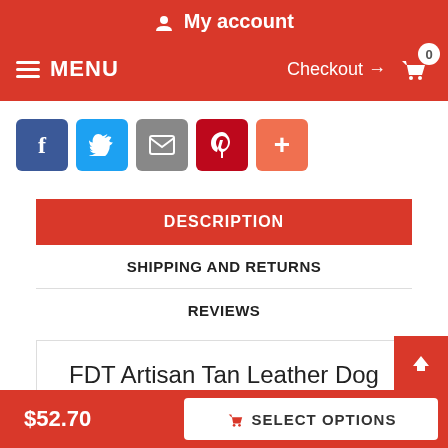My account
MENU   Checkout → 0
[Figure (screenshot): Social sharing buttons: Facebook (blue), Twitter (light blue), Email (gray), Pinterest (dark red), Add/Plus (salmon)]
DESCRIPTION
SHIPPING AND RETURNS
REVIEWS
FDT Artisan Tan Leather Dog Collar with Attractive Studs
Do you like stylish accessories? Let your favourite canine enjoy
$52.70   SELECT OPTIONS